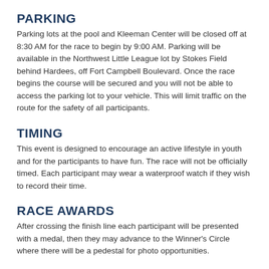PARKING
Parking lots at the pool and Kleeman Center will be closed off at 8:30 AM for the race to begin by 9:00 AM. Parking will be available in the Northwest Little League lot by Stokes Field behind Hardees, off Fort Campbell Boulevard. Once the race begins the course will be secured and you will not be able to access the parking lot to your vehicle. This will limit traffic on the route for the safety of all participants.
TIMING
This event is designed to encourage an active lifestyle in youth and for the participants to have fun. The race will not be officially timed. Each participant may wear a waterproof watch if they wish to record their time.
RACE AWARDS
After crossing the finish line each participant will be presented with a medal, then they may advance to the Winner's Circle where there will be a pedestal for photo opportunities.